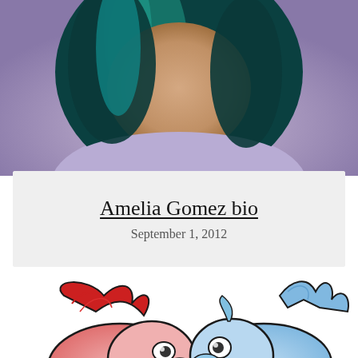[Figure (photo): Portrait photo of a person with dark teal/blue-green dyed hair wearing a lavender/purple t-shirt, photographed from slightly above against a neutral background.]
Amelia Gomez bio
September 1, 2012
[Figure (illustration): Hand-drawn colored pencil illustration of two cartoon creature/animal characters facing each other — one pink/red colored on the left and one light blue colored on the right, with expressive faces and stylized manes/fur.]